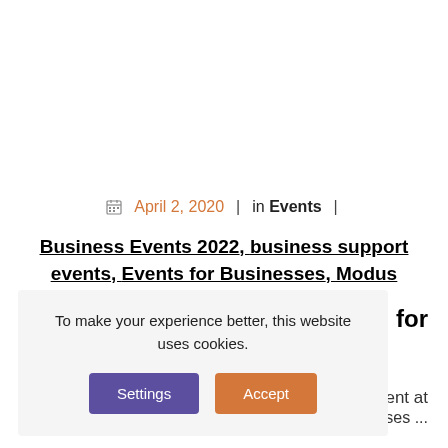📅 April 2, 2020  |  in Events  |
Business Events 2022, business support events, Events for Businesses, Modus Events
for
[Figure (other): Cookie consent popup with Settings and Accept buttons]
nd present at many events for businesses ...